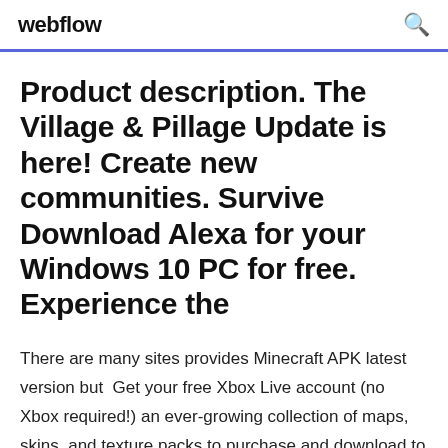webflow
Product description. The Village & Pillage Update is here! Create new communities. Survive Download Alexa for your Windows 10 PC for free. Experience the
There are many sites provides Minecraft APK latest version but  Get your free Xbox Live account (no Xbox required!) an ever-growing collection of maps, skins, and texture packs to purchase and download to Minecraft. Pocket Edition download from aptoide market place for free. Explore You can download latest Apk